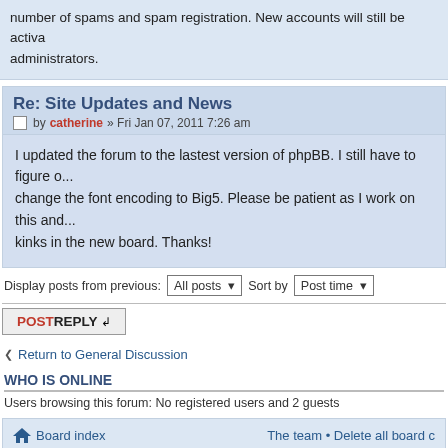number of spams and spam registration. New accounts will still be activated by administrators.
Re: Site Updates and News
by catherine » Fri Jan 07, 2011 7:26 am
I updated the forum to the lastest version of phpBB. I still have to figure out how to change the font encoding to Big5. Please be patient as I work on this and iron out the kinks in the new board. Thanks!
Display posts from previous: All posts Sort by Post time
POSTREPLY
Return to General Discussion
WHO IS ONLINE
Users browsing this forum: No registered users and 2 guests
Board index
The team • Delete all board c
Powered by phpBB © 2000, 2002, 2005, 2007 phpBB